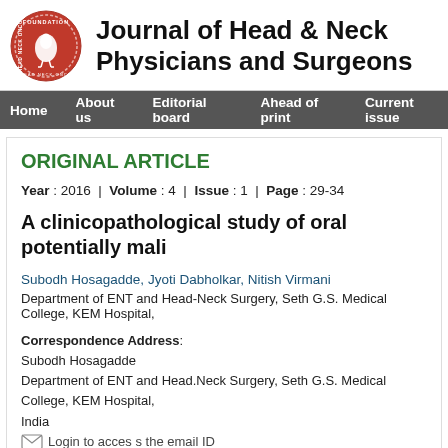Journal of Head & Neck Physicians and Surgeons
ORIGINAL ARTICLE
Year : 2016 | Volume : 4 | Issue : 1 | Page : 29-34
A clinicopathological study of oral potentially mali...
Subodh Hosagadde, Jyoti Dabholkar, Nitish Virmani
Department of ENT and Head-Neck Surgery, Seth G.S. Medical College, KEM Hospital,
Correspondence Address:
Subodh Hosagadde
Department of ENT and Head.Neck Surgery, Seth G.S. Medical College, KEM Hospital,
India
Login to access the email ID
Source of Support: None, Conflict of Interest: None